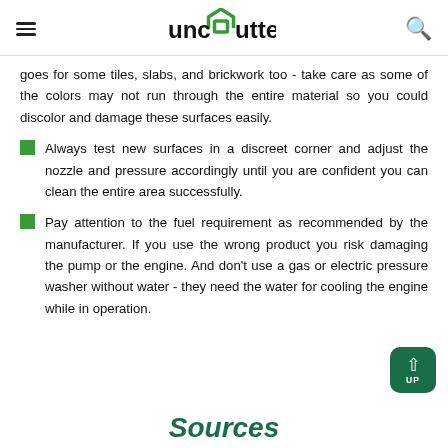unclutterer
goes for some tiles, slabs, and brickwork too - take care as some of the colors may not run through the entire material so you could discolor and damage these surfaces easily.
Always test new surfaces in a discreet corner and adjust the nozzle and pressure accordingly until you are confident you can clean the entire area successfully.
Pay attention to the fuel requirement as recommended by the manufacturer. If you use the wrong product you risk damaging the pump or the engine. And don't use a gas or electric pressure washer without water - they need the water for cooling the engine while in operation.
Sources